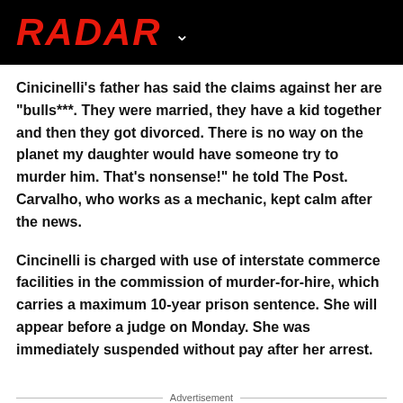RADAR
Cinicinelli's father has said the claims against her are "bulls***. They were married, they have a kid together and then they got divorced. There is no way on the planet my daughter would have someone try to murder him. That's nonsense!" he told The Post. Carvalho, who works as a mechanic, kept calm after the news.
Cincinelli is charged with use of interstate commerce facilities in the commission of murder-for-hire, which carries a maximum 10-year prison sentence. She will appear before a judge on Monday. She was immediately suspended without pay after her arrest.
Advertisement